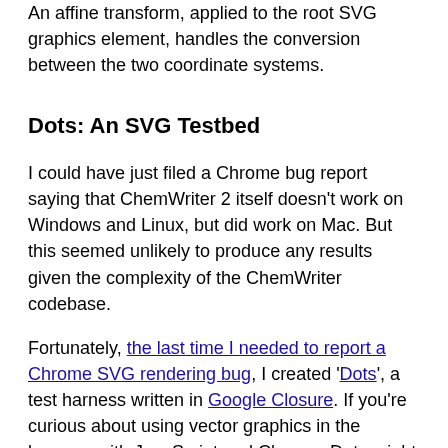An affine transform, applied to the root SVG graphics element, handles the conversion between the two coordinate systems.
Dots: An SVG Testbed
I could have just filed a Chrome bug report saying that ChemWriter 2 itself doesn't work on Windows and Linux, but did work on Mac. But this seemed unlikely to produce any results given the complexity of the ChemWriter codebase.
Fortunately, the last time I needed to report a Chrome SVG rendering bug, I created 'Dots', a test harness written in Google Closure. If you're curious about using vector graphics in the browser with JavaScript and Closure, Dots might be a good example project to get you started.
Dots draws a red circle wherever you click a mouse. I